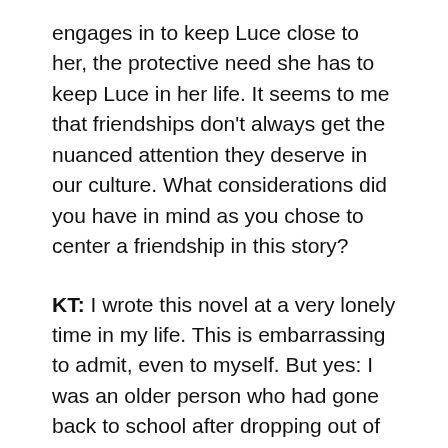engages in to keep Luce close to her, the protective need she has to keep Luce in her life. It seems to me that friendships don't always get the nuanced attention they deserve in our culture. What considerations did you have in mind as you chose to center a friendship in this story?
KT: I wrote this novel at a very lonely time in my life. This is embarrassing to admit, even to myself. But yes: I was an older person who had gone back to school after dropping out of undergrad years earlier. I felt ill-equipped, anxious, frightened. At times I felt excluded because of the age difference––not always, but enough for it to sting. Looking back, I think I dreamed up this intense and heady